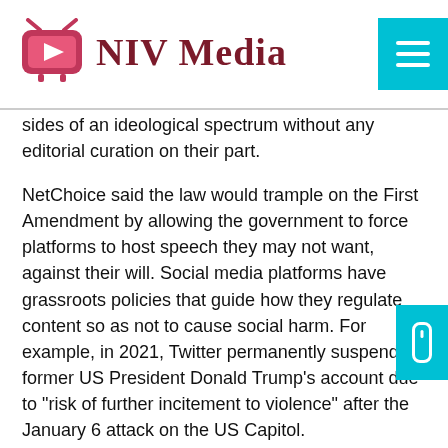NIV Media
sides of an ideological spectrum without any editorial curation on their part.
NetChoice said the law would trample on the First Amendment by allowing the government to force platforms to host speech they may not want, against their will. Social media platforms have grassroots policies that guide how they regulate content so as not to cause social harm. For example, in 2021, Twitter permanently suspended former US President Donald Trump’s account due to “risk of further incitement to violence” after the January 6 attack on the US Capitol.
Mandate public disclosure of information
The other provision deals with public disclosures. Texas